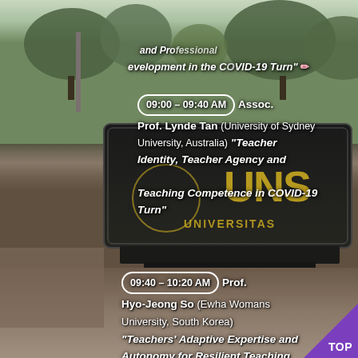[Figure (photo): Photograph of UNS (Universitas Sebelas Maret) university signboard/monument with trees and outdoor plaza in background. The large dark sign displays the UNS logo and 'UNIVERSITAS' text in gold letters.]
and Professional
evelopment in the COVID-19 Turn"
09:00 – 09:40 AM  Assoc. Prof. Lynde Tan (University of Sydney University, Australia) "Teacher Identity, Teacher Agency and Teaching Competence in COVID-19 Turn"
09:40 – 10:20 AM  Prof. Hyo-Jeong So (Ewha Womans University, South Korea) "Teachers' Adaptive Expertise and Autonomy for Resilient Teaching and Learning in the Face of Covid-